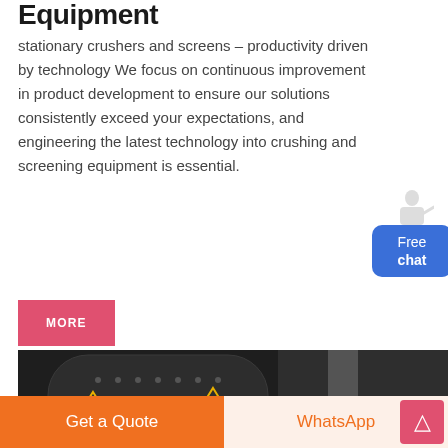Equipment
stationary crushers and screens - productivity driven by technology We focus on continuous improvement in product development to ensure our solutions consistently exceed your expectations, and engineering the latest technology into crushing and screening equipment is essential.
[Figure (illustration): Chat widget with a customer service representative figure and a blue rounded button labeled 'Free chat']
MORE
[Figure (photo): Industrial crushing machine photographed in a factory setting, dark metallic equipment with bolt pattern visible]
Get a Quote
WhatsApp